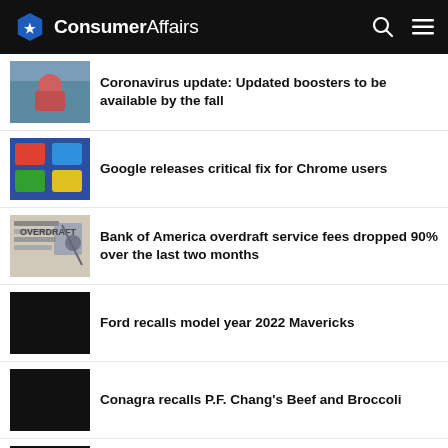ConsumerAffairs
Coronavirus update: Updated boosters to be available by the fall
Google releases critical fix for Chrome users
Bank of America overdraft service fees dropped 90% over the last two months
Ford recalls model year 2022 Mavericks
Conagra recalls P.F. Chang's Beef and Broccoli
KTM recalls Husqvarna and KTM motorcycles with TKC80 tires
Nearly 1.4 million DeWALT miter saws...